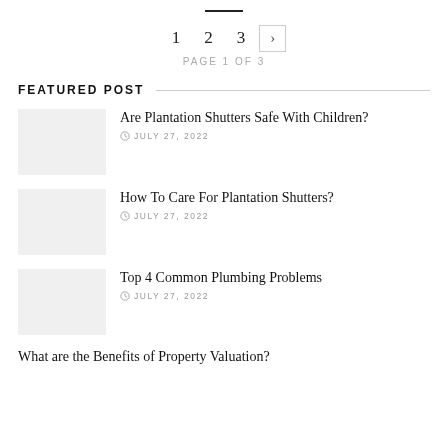1  2  3  >
PAGE 1 OF 3
FEATURED POST
Are Plantation Shutters Safe With Children?
JULY 27, 2022
How To Care For Plantation Shutters?
JULY 27, 2022
Top 4 Common Plumbing Problems
JULY 27, 2022
What are the Benefits of Property Valuation?